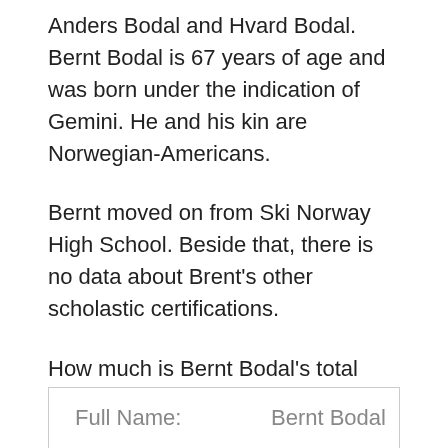Anders Bodal and Hvard Bodal. Bernt Bodal is 67 years of age and was born under the indication of Gemini. He and his kin are Norwegian-Americans.
Bernt moved on from Ski Norway High School. Beside that, there is no data about Brent's other scholastic certifications.
How much is Bernt Bodal's total assets? Brent has not yet gotten any honors or selections. Moreover, in view of Brent's standing and achievement, we can anticipate that he will win some of them before very long.
| Full Name: | Bernt Bodal |
| --- | --- |